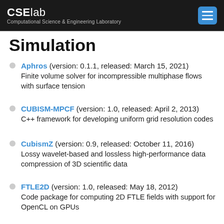CSElab Computational Science & Engineering Laboratory
Simulation
Aphros (version: 0.1.1, released: March 15, 2021) Finite volume solver for incompressible multiphase flows with surface tension
CUBISM-MPCF (version: 1.0, released: April 2, 2013) C++ framework for developing uniform grid resolution codes
CubismZ (version: 0.9, released: October 11, 2016) Lossy wavelet-based and lossless high-performance data compression of 3D scientific data
FTLE2D (version: 1.0, released: May 18, 2012) Code package for computing 2D FTLE fields with support for OpenCL on GPUs